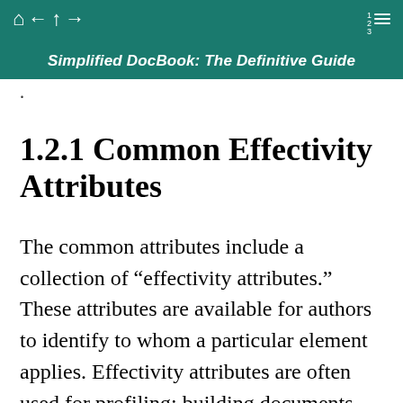Simplified DocBook: The Definitive Guide
1.2.1 Common Effectivity Attributes
The common attributes include a collection of “effectivity attributes.” These attributes are available for authors to identify to whom a particular element applies. Effectivity attributes are often used for profiling: building documents that contain information